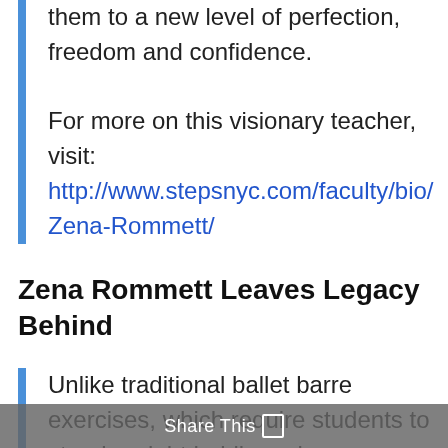them to a new level of perfection, freedom and confidence. For more on this visionary teacher, visit: http://www.stepsnyc.com/faculty/bio/Zena-Rommett/
Zena Rommett Leaves Legacy Behind
Unlike traditional ballet barre exercises, which require students to stand upright holding a barre attached to a
Share This